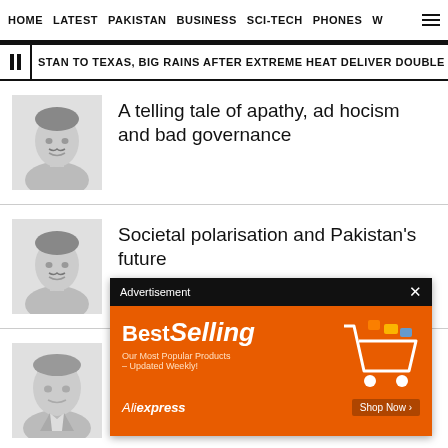HOME  LATEST  PAKISTAN  BUSINESS  SCI-TECH  PHONES  W
STAN TO TEXAS, BIG RAINS AFTER EXTREME HEAT DELIVER DOUBLE PUNCH  PUTI
[Figure (photo): Headshot of a man, grayscale]
A telling tale of apathy, ad hocism and bad governance
[Figure (photo): Headshot of a man, grayscale]
Societal polarisation and Pakistan's future
[Figure (photo): Headshot of an older man, grayscale]
Coping with th calamity
[Figure (screenshot): Advertisement overlay: BestSelling - Our Most Popular Products - Updated Weekly! AliExpress Shop Now]